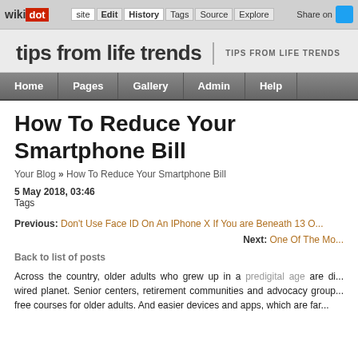wikidot | Edit | History | Tags | Source | Explore | Share on [Twitter]
tips from life trends | TIPS FROM LIFE TRENDS
Home | Pages | Gallery | Admin | Help
How To Reduce Your Smartphone Bill
Your Blog » How To Reduce Your Smartphone Bill
5 May 2018, 03:46
Tags
Previous: Don't Use Face ID On An IPhone X If You are Beneath 13 O...
Next: One Of The Mo...
Back to list of posts
Across the country, older adults who grew up in a predigital age are di... wired planet. Senior centers, retirement communities and advocacy group... free courses for older adults. And easier devices and apps, which are far...